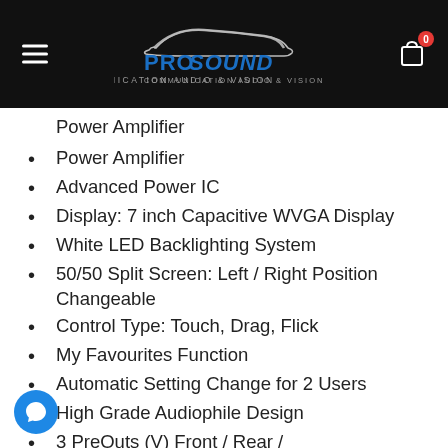[Figure (logo): ProSound Communication Audio & Vision logo on black header bar with hamburger menu and shopping cart icon]
Power Amplifier
Advanced Power IC
Display: 7 inch Capacitive WVGA Display
White LED Backlighting System
50/50 Split Screen: Left / Right Position Changeable
Control Type: Touch, Drag, Flick
My Favourites Function
Automatic Setting Change for 2 Users
High Grade Audiophile Design
3 PreOuts (V) Front / Rear /